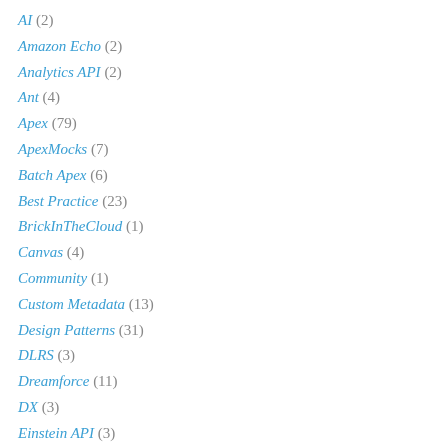AI (2)
Amazon Echo (2)
Analytics API (2)
Ant (4)
Apex (79)
ApexMocks (7)
Batch Apex (6)
Best Practice (23)
BrickInTheCloud (1)
Canvas (4)
Community (1)
Custom Metadata (13)
Design Patterns (31)
DLRS (3)
Dreamforce (11)
DX (3)
Einstein API (3)
External Services (4)
Feature Management (2)
Flow (19)